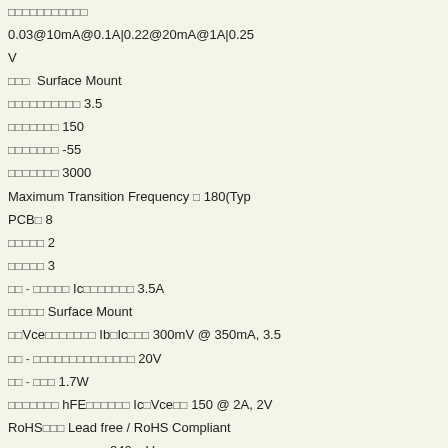□□□□□□□□□□□
0.03@10mA@0.1A|0.22@20mA@1A|0.25
V
□□□ Surface Mount
□□□□□□□□□□ 3.5
□□□□□□□ 150
□□□□□□□ -55
□□□□□□□ 3000
Maximum Transition Frequency □ 180(Typ
PCB□ 8
□□□□□ 2
□□□□□ 3
□□ - □□□□□ Ic□□□□□□□ 3.5A
□□□□□ Surface Mount
□□Vce□□□□□□□ Ib□Ic□□□ 300mV @ 350mA, 3.5
□□ - □□□□□□□□□□□□□□ 20V
□□ - □□□ 1.7W
□□□□□□□ hFE□□□□□□ Ic□Vce□□ 150 @ 2A, 2V
RoHS□□□ Lead free / RoHS Compliant
□□□ - □□□□□□□□ - 240 mV
□□□□□□ PNP
□□□□□/□□□hfe□□□□ 300 at 10 mA at 2 V, 300 at 0
V